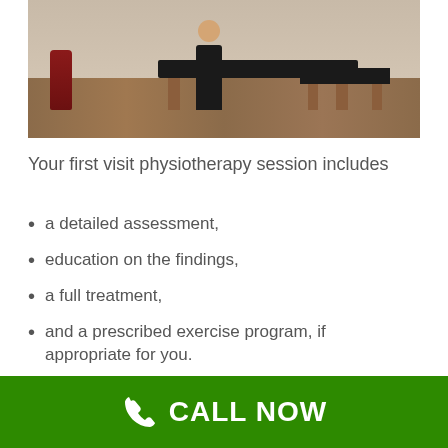[Figure (photo): A physiotherapy clinic room with a massage/treatment table, a person standing next to it dressed in black, a red vase in the corner, and hardwood flooring.]
Your first visit physiotherapy session includes
a detailed assessment,
education on the findings,
a full treatment,
and a prescribed exercise program, if appropriate for you.
CALL NOW